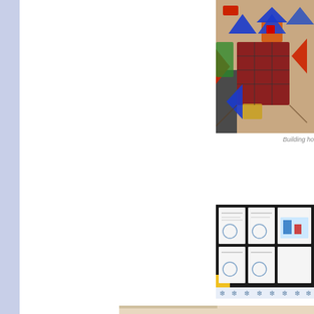[Figure (photo): Aerial view of colorful magnetic tile building blocks arranged on a table, showing a house-like structure made of red, blue, yellow and green transparent magnetic tiles]
Building ho
[Figure (photo): A classroom display board with student work papers pinned to a dark background, showing worksheets with drawings and writing, with decorative snowflake border at bottom]
[Figure (photo): Partial view of another classroom display or document at the bottom of the page]